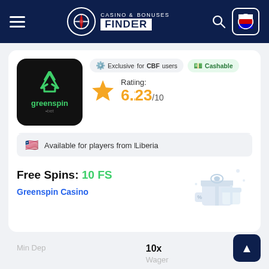Casino & Bonuses Finder
Exclusive for CBF users   Cashable
Rating: 6.23/10
Available for players from Liberia
Free Spins: 10 FS
Greenspin Casino
| Min Dep | Wager |
| --- | --- |
|  | 10x |
Curacao
License